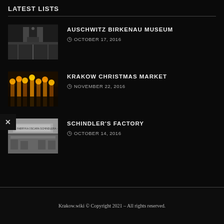LATEST LISTS
AUSCHWITZ BIRKENAU MUSEUM
OCTOBER 17, 2016
KRAKOW CHRISTMAS MARKET
NOVEMBER 22, 2016
SCHINDLER'S FACTORY
OCTOBER 14, 2016
Krakow.wiki © Copyright 2021 – All rights reserved.